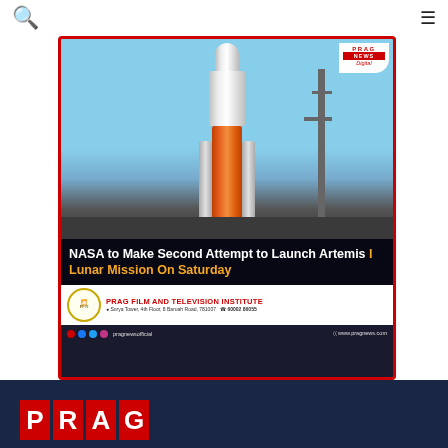Prag News website header with search and menu icons
[Figure (screenshot): NASA Artemis I rocket on launch pad with white rocket body, orange core stage, and two white solid rocket boosters. Prag News Digital logo in top right corner. Headline: NASA to Make Second Attempt to Launch Artemis I Lunar Mission On Saturday. PFTI (Prag Film and Television Institute) advertisement bar at bottom. Social media icons and pragnewsofficial handle, www.pragnews.com]
NASA to Make Second Attempt to Launch Artemis I Lunar Mission On Saturday
PRAG (logo) footer in dark navy blue